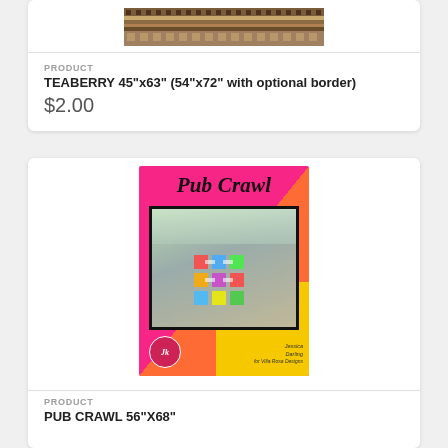[Figure (photo): Teaberry quilt pattern fabric swatch showing a repeating geometric pattern in brown and tan tones]
PRODUCT
TEABERRY 45"x63" (54"x72" with optional border)
$2.00
[Figure (photo): Pub Crawl quilt pattern cover showing a colorful quilt draped over a porch chair, with pink, orange, and yellow background design and script title text]
PRODUCT
PUB CRAWL 56"X68"